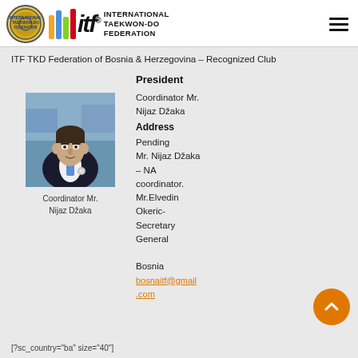[Figure (logo): International Taekwon-Do Federation logo with circular emblem and colored bars beside ITF wordmark and federation name]
ITF TKD Federation of Bosnia & Herzegovina – Recognized Club
[Figure (photo): Portrait photo of Coordinator Mr. Nijaz Džaka in a dark suit with a blue tie]
Coordinator Mr. Nijaz Džaka
President
Coordinator Mr. Nijaz Džaka
Address
Pending
Mr. Nijaz Džaka – NA coordinator.
Mr.Elvedin Okeric- Secretary General
Bosnia
bosnaitf@gmail.com
[?sc_country="ba" size="40"]